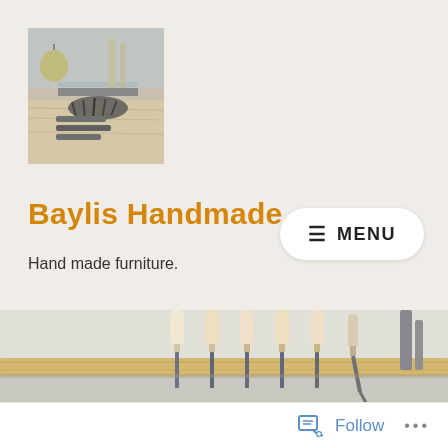[Figure (photo): Small square thumbnail photo of woodworking tools and nails/screws on a wooden surface with metal rails]
Baylis Handmade
Hand made furniture.
[Figure (photo): Wide photo of several woodworking chisels with wooden handles mounted on a wooden rack on a white wall]
Follow ···